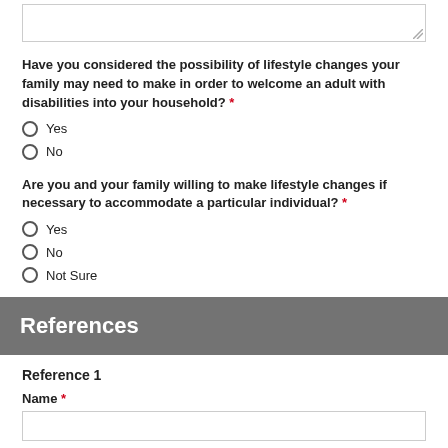[textarea input area]
Have you considered the possibility of lifestyle changes your family may need to make in order to welcome an adult with disabilities into your household? *
Yes
No
Are you and your family willing to make lifestyle changes if necessary to accommodate a particular individual? *
Yes
No
Not Sure
References
Reference 1
Name *
[name input area]